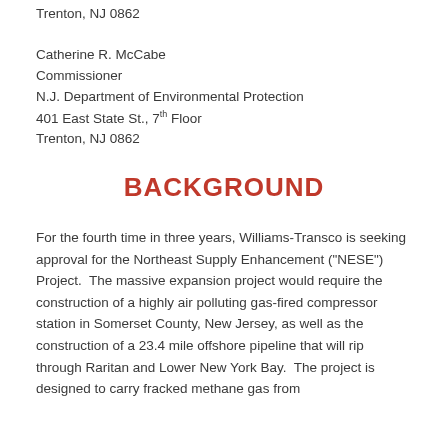Trenton, NJ 0862
Catherine R. McCabe
Commissioner
N.J. Department of Environmental Protection
401 East State St., 7th Floor
Trenton, NJ 0862
BACKGROUND
For the fourth time in three years, Williams-Transco is seeking approval for the Northeast Supply Enhancement ("NESE") Project.  The massive expansion project would require the construction of a highly air polluting gas-fired compressor station in Somerset County, New Jersey, as well as the construction of a 23.4 mile offshore pipeline that will rip through Raritan and Lower New York Bay.  The project is designed to carry fracked methane gas from